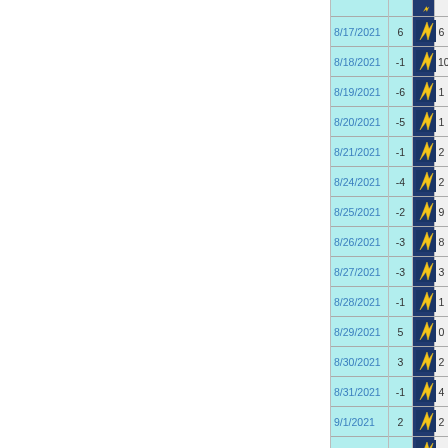| Date | Score | Team | Opp Score | Opponent |
| --- | --- | --- | --- | --- |
| 8/17/2021 | 6 | [lightning] | 6 | [team logo] |
| 8/18/2021 | -1 | [lightning] | 10 | [team logo] |
| 8/19/2021 | -6 | [lightning] | 1 | [team logo] |
| 8/20/2021 | -5 | [lightning] | 1 | [team logo] |
| 8/21/2021 | -1 | [lightning] | 2 | [team logo] |
| 8/24/2021 | -4 | [lightning] | 2 | [team logo] |
| 8/25/2021 | -2 | [lightning] | 9 | [team logo] |
| 8/26/2021 | -3 | [lightning] | 8 | [team logo] |
| 8/27/2021 | -3 | [lightning] | 3 | [team logo] |
| 8/28/2021 | -1 | [lightning] | 1 | [team logo] |
| 8/29/2021 | 5 | [lightning] | 0 | [team logo] |
| 8/30/2021 | 3 | [lightning] | 2 | [team logo] |
| 8/31/2021 | -1 | [lightning] | 4 | [team logo] |
| 9/1/2021 | 2 | [lightning] | 2 | [team logo] |
| 9/2/2021 | -6 | [lightning] | 3 | [team logo] |